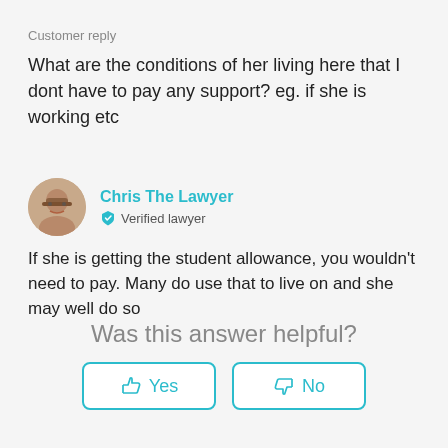Customer reply
What are the conditions of her living here that I dont have to pay any support? eg. if she is working etc
Chris The Lawyer
Verified lawyer
If she is getting the student allowance, you wouldn’t need to pay. Many do use that to live on and she may well do so
Was this answer helpful?